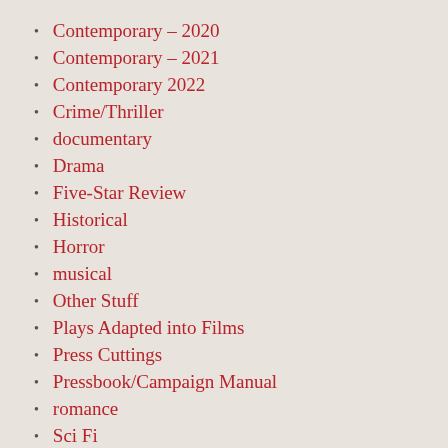Contemporary – 2020
Contemporary – 2021
Contemporary 2022
Crime/Thriller
documentary
Drama
Five-Star Review
Historical
Horror
musical
Other Stuff
Plays Adapted into Films
Press Cuttings
Pressbook/Campaign Manual
romance
Sci Fi